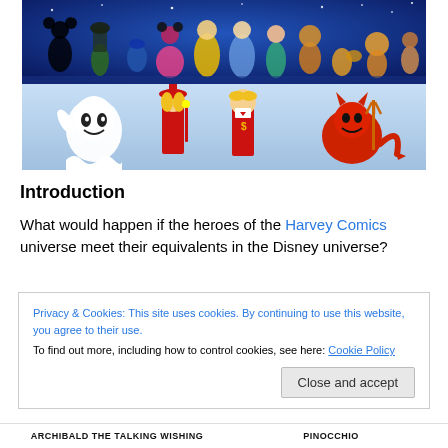[Figure (illustration): Top banner showing a large group of colorful Disney animated characters on a blue starry background, with many famous characters crowded together.]
[Figure (illustration): Bottom banner showing Harvey Comics characters: Casper the Friendly Ghost (white ghost waving), two children in red outfits (one with a wand), and Hot Stuff (red devil baby) against a light blue background.]
Introduction
What would happen if the heroes of the Harvey Comics universe meet their equivalents in the Disney universe?
Privacy & Cookies: This site uses cookies. By continuing to use this website, you agree to their use.
To find out more, including how to control cookies, see here: Cookie Policy
Close and accept
ARCHIBALD THE TALKING WISHING    PINOCCHIO